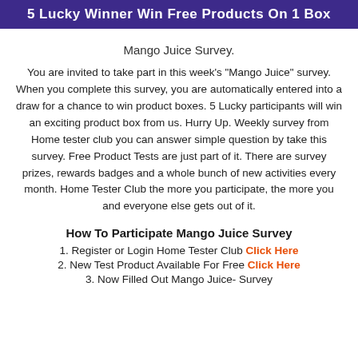5 Lucky Winner Win Free Products On 1 Box
Mango Juice Survey.
You are invited to take part in this week's "Mango Juice" survey. When you complete this survey, you are automatically entered into a draw for a chance to win product boxes. 5 Lucky participants will win an exciting product box from us. Hurry Up. Weekly survey from Home tester club you can answer simple question by take this survey. Free Product Tests are just part of it. There are survey prizes, rewards badges and a whole bunch of new activities every month. Home Tester Club the more you participate, the more you and everyone else gets out of it.
How To Participate Mango Juice Survey
1. Register or Login Home Tester Club Click Here
2. New Test Product Available For Free Click Here
3. Now Filled Out Mango Juice- Survey